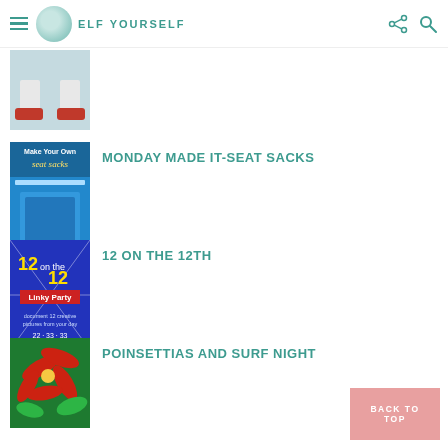ELF YOURSELF
[Figure (photo): Partial thumbnail image of an elf/classroom scene at top]
[Figure (photo): Thumbnail image with text Make Your Own Seat Sacks]
MONDAY MADE IT-SEAT SACKS
[Figure (photo): Thumbnail image for 12 on the 12th Linky Party]
12 ON THE 12TH
[Figure (photo): Thumbnail image of painted poinsettia flowers]
POINSETTIAS AND SURF NIGHT
BACK TO TOP